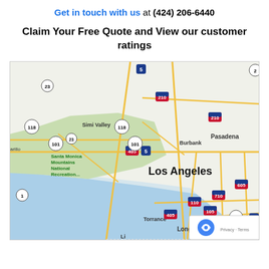Get in touch with us at (424) 206-6440
Claim Your Free Quote and View our customer ratings
[Figure (map): Google Maps view of the Los Angeles metropolitan area showing cities including Simi Valley, Burbank, Pasadena, Los Angeles, Torrance, Long Beach, and various freeway numbers (5, 23, 101, 118, 210, 405, 605, 710, 110, 105, 91). Santa Monica Mountains National Recreation area is labeled. A reCAPTCHA Privacy-Terms badge appears in the bottom right corner.]